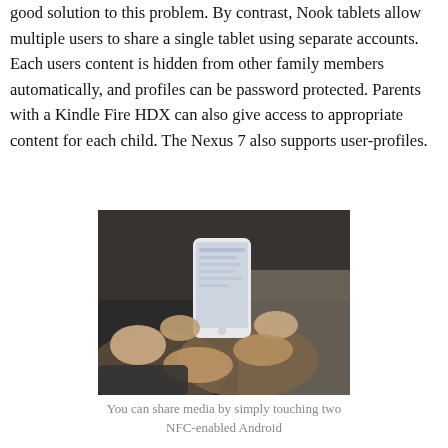good solution to this problem. By contrast, Nook tablets allow multiple users to share a single tablet using separate accounts. Each users content is hidden from other family members automatically, and profiles can be password protected. Parents with a Kindle Fire HDX can also give access to appropriate content for each child. The Nexus 7 also supports user-profiles.
[Figure (photo): Two hands holding and operating a white smartphone, with a blurred background suggesting an indoor setting.]
You can share media by simply touching two NFC-enabled Android